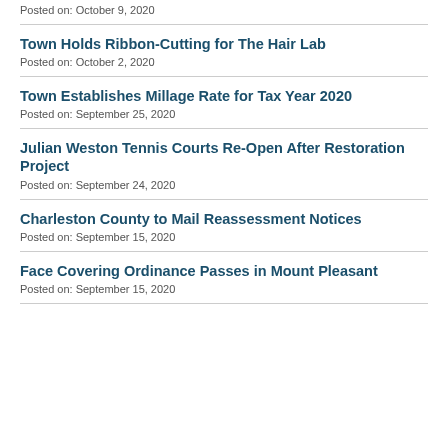Posted on: October 9, 2020
Town Holds Ribbon-Cutting for The Hair Lab
Posted on: October 2, 2020
Town Establishes Millage Rate for Tax Year 2020
Posted on: September 25, 2020
Julian Weston Tennis Courts Re-Open After Restoration Project
Posted on: September 24, 2020
Charleston County to Mail Reassessment Notices
Posted on: September 15, 2020
Face Covering Ordinance Passes in Mount Pleasant
Posted on: September 15, 2020